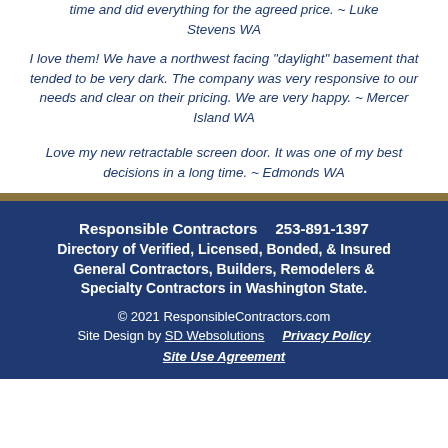time and did everything for the agreed price. ~ Luke Stevens WA
I love them! We have a northwest facing "daylight" basement that tended to be very dark. The company was very responsive to our needs and clear on their pricing. We are very happy. ~ Mercer Island WA
Love my new retractable screen door. It was one of my best decisions in a long time. ~ Edmonds WA
Responsible Contractors   253-891-1397
Directory of Verified, Licensed, Bonded, & Insured General Contractors, Builders, Remodelers & Specialty Contractors in Washington State.
© 2021 ResponsibleContractors.com
Site Design by SD Websolutions   Privacy Policy
Site Use Agreement